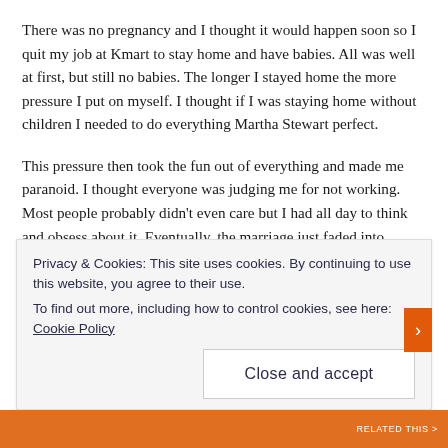There was no pregnancy and I thought it would happen soon so I quit my job at Kmart to stay home and have babies. All was well at first, but still no babies. The longer I stayed home the more pressure I put on myself. I thought if I was staying home without children I needed to do everything Martha Stewart perfect.
This pressure then took the fun out of everything and made me paranoid. I thought everyone was judging me for not working. Most people probably didn't even care but I had all day to think and obsess about it. Eventually, the marriage just faded into oblivion. Then I had to work as I was late 20s and single.
I continued working but took one year off to get pregnant by my new husband. Again nothing. My dream of a June Cleaver life was dead
Privacy & Cookies: This site uses cookies. By continuing to use this website, you agree to their use.
To find out more, including how to control cookies, see here: Cookie Policy
Close and accept